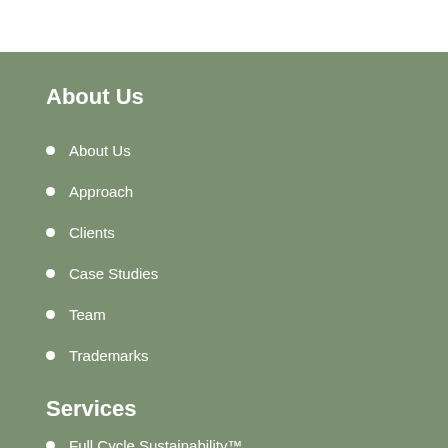About Us
About Us
Approach
Clients
Case Studies
Team
Trademarks
Services
Full Cycle Sustainability™
Step By Step
What's The Biggest Brand Promise You Can Make?